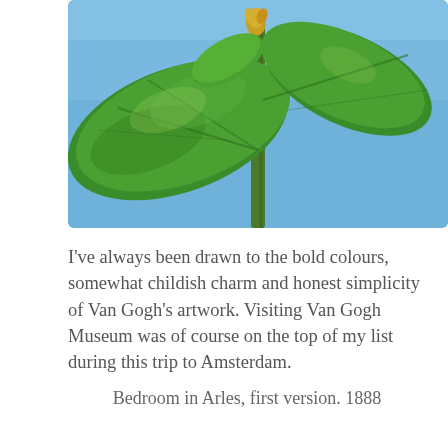[Figure (photo): A green large-leafed plant (likely a sunflower plant) photographed from below against a clear blue sky. The stem extends upward with broad leaves and a small flower bud visible at the top.]
I've always been drawn to the bold colours, somewhat childish charm and honest simplicity of Van Gogh's artwork. Visiting Van Gogh Museum was of course on the top of my list during this trip to Amsterdam.
Bedroom in Arles, first version. 1888